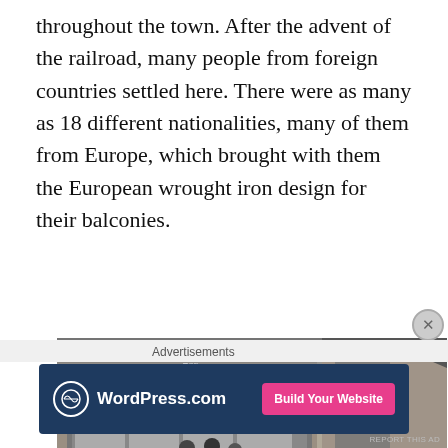throughout the town. After the advent of the railroad, many people from foreign countries settled here. There were as many as 18 different nationalities, many of them from Europe, which brought with them the European wrought iron design for their balconies.
[Figure (photo): Black and white historical photograph of a brick building storefront decorated for July 4th, 1908, with people visible on a balcony above the shop windows.]
Advertisements
[Figure (logo): WordPress.com advertisement banner with logo on dark blue background and pink 'Build Your Website' button.]